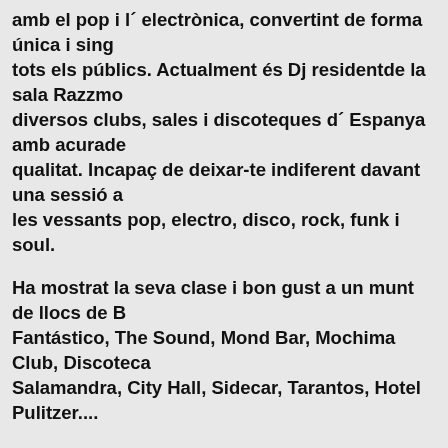amb el pop i l´ electrònica, convertint de forma única i sing tots els públics. Actualment és Dj residentde la sala Razzmo diversos clubs, sales i discoteques d´ Espanya amb acurade qualitat. Incapaç de deixar-te indiferent davant una sessió les vessants pop, electro, disco, rock, funk i soul.
Ha mostrat la seva clase i bon gust a un munt de llocs de B Fantástico, The Sound, Mond Bar, Mochima Club, Discoteca Salamandra, City Hall, Sidecar, Tarantos, Hotel Pulitzer....
Fora de Barcelona ha realitzat sessions a: Ochoymedio, Coo (L'Hospitalet), BlasBlas, Kafka, F***K YOU, Kräsna, Balbo (Toledo), Fever, Guggenheim, Stereorocks, (Bilbao), Flow, Picadilly, Murray, Deejing, La3, XL, Play (Valencia), Zeppe (Castellón), Beat!, Taboo,Harlem, Q4TTRO/40, Fraguel Roc (Puerto de Sagunto), Gossip (Vilareal), Confetti, Stereo, El (Pamplona), Groenlandia, Sala López (Zaragoza), 12yMedi Cotton, Linia, Les Paul, La Boite (Lleida), Blau, La Mirona, (Vilajuiga), Blanc, Suau, Noovo, Oniria, Japan (Reus), Söni Cultura Club, Es Gremi, La Red Club, Gran Maraca Club, Sa R Monstruo, Mondo (Vigo), Hangar (Vinaròs), Berlanga (Val